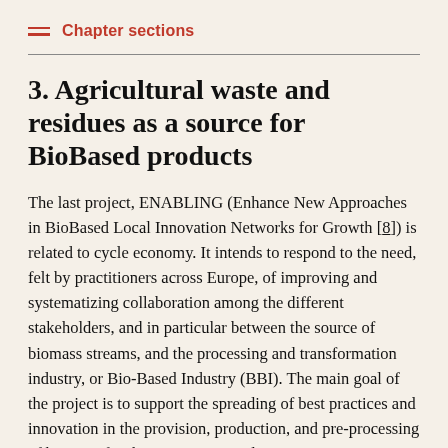Chapter sections
3. Agricultural waste and residues as a source for BioBased products
The last project, ENABLING (Enhance New Approaches in BioBased Local Innovation Networks for Growth [8]) is related to cycle economy. It intends to respond to the need, felt by practitioners across Europe, of improving and systematizing collaboration among the different stakeholders, and in particular between the source of biomass streams, and the processing and transformation industry, or Bio-Based Industry (BBI). The main goal of the project is to support the spreading of best practices and innovation in the provision, production, and pre-processing of biomass for the BBI. In particular